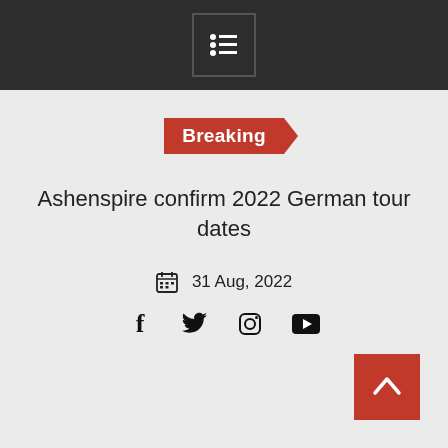Navigation menu bar with hamburger/list icon
Breaking
Ashenspire confirm 2022 German tour dates
31 Aug, 2022
[Figure (infographic): Social share icons: Facebook, Twitter, Instagram, YouTube]
[Figure (infographic): Back to top button (red square with upward chevron arrow)]